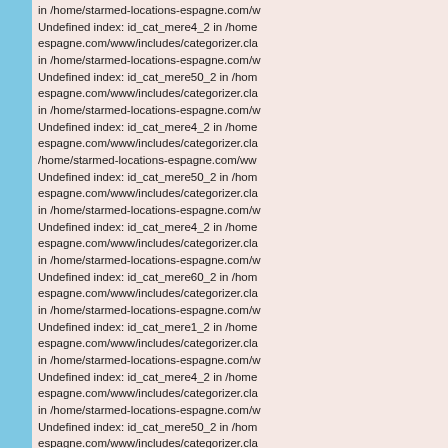in /home/starmed-locations-espagne.com/w Undefined index: id_cat_mere4_2 in /home espagne.com/www/includes/categorizer.cla in /home/starmed-locations-espagne.com/w Undefined index: id_cat_mere50_2 in /hom espagne.com/www/includes/categorizer.cla in /home/starmed-locations-espagne.com/w Undefined index: id_cat_mere4_2 in /home espagne.com/www/includes/categorizer.cla /home/starmed-locations-espagne.com/ww Undefined index: id_cat_mere50_2 in /hom espagne.com/www/includes/categorizer.cla in /home/starmed-locations-espagne.com/w Undefined index: id_cat_mere4_2 in /home espagne.com/www/includes/categorizer.cla in /home/starmed-locations-espagne.com/w Undefined index: id_cat_mere60_2 in /hom espagne.com/www/includes/categorizer.cla in /home/starmed-locations-espagne.com/w Undefined index: id_cat_mere1_2 in /home espagne.com/www/includes/categorizer.cla in /home/starmed-locations-espagne.com/w Undefined index: id_cat_mere4_2 in /home espagne.com/www/includes/categorizer.cla in /home/starmed-locations-espagne.com/w Undefined index: id_cat_mere50_2 in /hom espagne.com/www/includes/categorizer.cla in /home/starmed-locations-espagne.com/w Undefined index: id_cat_mere4_2 in /home espagne.com/www/includes/categorizer.cla /home/starmed-locations-espagne.com/ww Undefined index: id_cat_mere50_2 in /hom